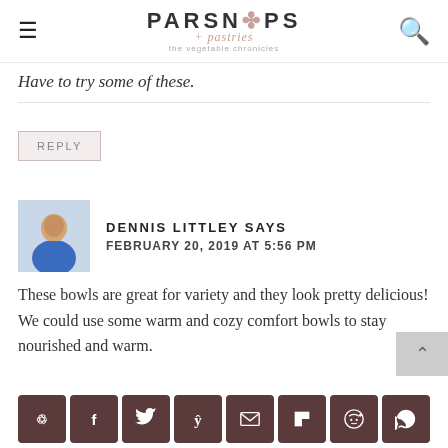PARSNIPS + pastries
Have to try some of these.
REPLY
DENNIS LITTLEY SAYS
FEBRUARY 20, 2019 AT 5:56 PM
These bowls are great for variety and they look pretty delicious! We could use some warm and cozy comfort bowls to stay nourished and warm.
[Figure (other): Social share icons bar: Pinterest, Facebook, Twitter, Yummly, Email, Flipboard, Reddit, WhatsApp]